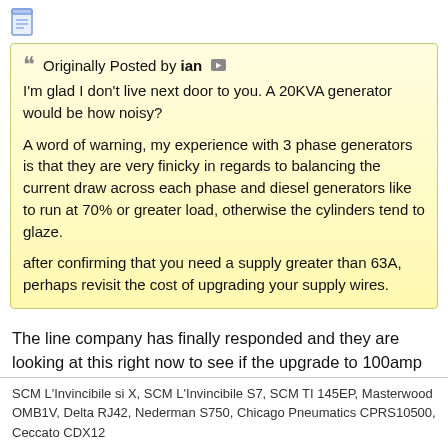[Figure (other): Document/notepad icon]
Originally Posted by ian
I'm glad I don't live next door to you. A 20KVA generator would be how noisy?

A word of warning, my experience with 3 phase generators is that they are very finicky in regards to balancing the current draw across each phase and diesel generators like to run at 70% or greater load, otherwise the cylinders tend to glaze.

after confirming that you need a supply greater than 63A, perhaps revisit the cost of upgrading your supply wires.
The line company has finally responded and they are looking at this right now to see if the upgrade to 100amp or bigger can be done.

if it can be done with less $ than a genset then I will do it.
SCM L'Invincibile si X, SCM L'Invincibile S7, SCM TI 145EP, Masterwood OMB1V, Delta RJ42, Nederman S750, Chicago Pneumatics CPRS10500, Ceccato CDX12